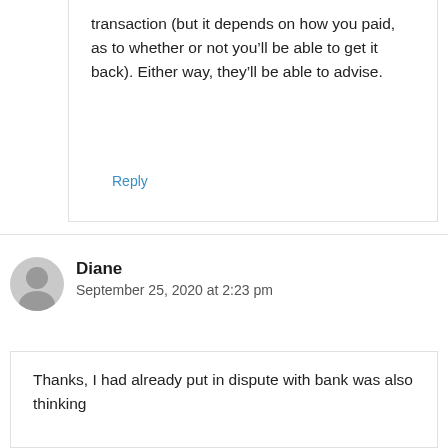transaction (but it depends on how you paid, as to whether or not you'll be able to get it back). Either way, they'll be able to advise.
Reply
Diane
September 25, 2020 at 2:23 pm
Thanks, I had already put in dispute with bank was also thinking